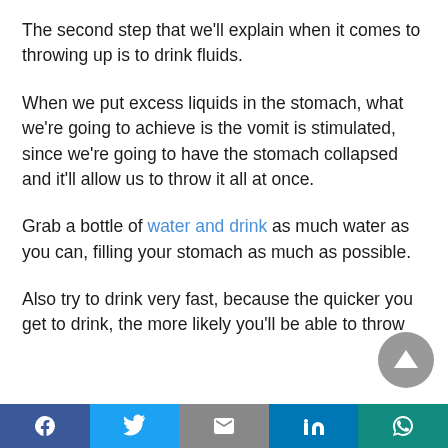The second step that we'll explain when it comes to throwing up is to drink fluids.
When we put excess liquids in the stomach, what we're going to achieve is the vomit is stimulated, since we're going to have the stomach collapsed and it'll allow us to throw it all at once.
Grab a bottle of water and drink as much water as you can, filling your stomach as much as possible.
Also try to drink very fast, because the quicker you get to drink, the more likely you'll be able to throw
Facebook Twitter Gmail LinkedIn WhatsApp